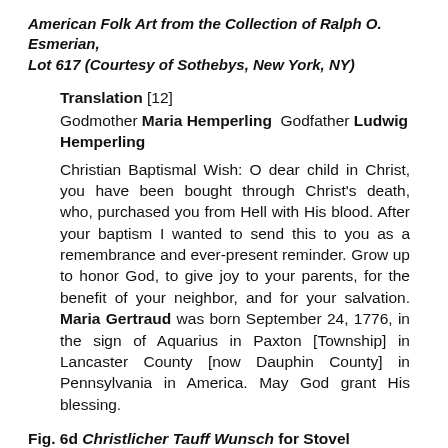American Folk Art from the Collection of Ralph O. Esmerian, Lot 617 (Courtesy of Sothebys, New York, NY)
Translation [12]
Godmother Maria Hemperling  Godfather Ludwig Hemperling
Christian Baptismal Wish: O dear child in Christ, you have been bought through Christ's death, who, purchased you from Hell with His blood. After your baptism I wanted to send this to you as a remembrance and ever-present reminder. Grow up to honor God, to give joy to your parents, for the benefit of your neighbor, and for your salvation. Maria Gertraud was born September 24, 1776, in the sign of Aquarius in Paxton [Township] in Lancaster County [now Dauphin County] in Pennsylvania in America. May God grant His blessing.
Fig. 6d Christlicher Tauff Wunsch for Stovel Ehmrich, Pennsylvania, 1958.0120.015A (Courtesy of Winterthur